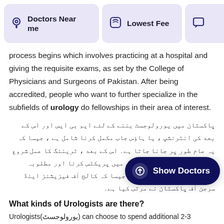Doctors Near me | Lowest Fee
process begins which involves practicing at a hospital and giving the requisite exams, as set by the College of Physicians and Surgeons of Pakistan. After being accredited, people who want to further specialize in the subfields of urology do fellowships in their area of interest.
پاکستان میں یورولوجسٹ بننے کے لئے ایم بی ایس اور اس کے بعد کی انٹرنشپ ، یا ہاؤس جاب مکمل کرنا شامل ہے ، جیسا کہ یہ عام طور پر جانا جاتا ہے۔ اس کے بعد ، ٹریننگ کا عمل شروع ہوتا ہے جس میں ایک ہسپتال میں پریکٹس کرنا اور مطلوبہ امتحانات دینا شامل ہیں ، جیسا کہ کالج آف فیزیشنز اینڈ سرجن آف پاکستان نے مرتب کیا ہے۔
What kinds of Urologists are there?
Urologists(یورولوجسٹ) can choose to spend additional 2-3